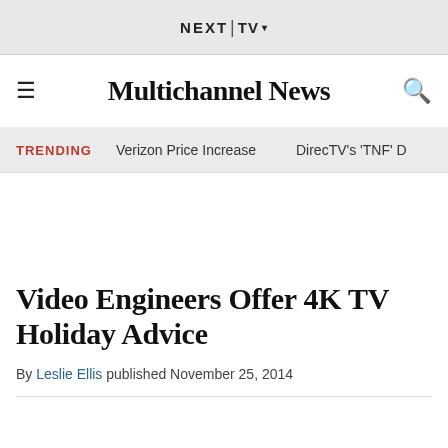NEXT | TV ▾
Multichannel News
TRENDING   Verizon Price Increase   DirecTV's 'TNF' D
Video Engineers Offer 4K TV Holiday Advice
By Leslie Ellis published November 25, 2014